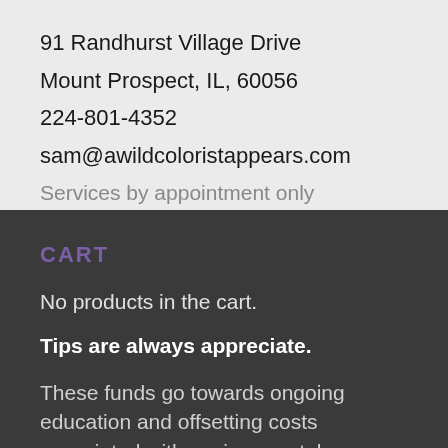91 Randhurst Village Drive
Mount Prospect, IL, 60056
224-801-4352
sam@awildcoloristappears.com
Services by appointment only
CART
No products in the cart.
Tips are always appreciate.
These funds go towards ongoing education and offsetting costs associated with environmental